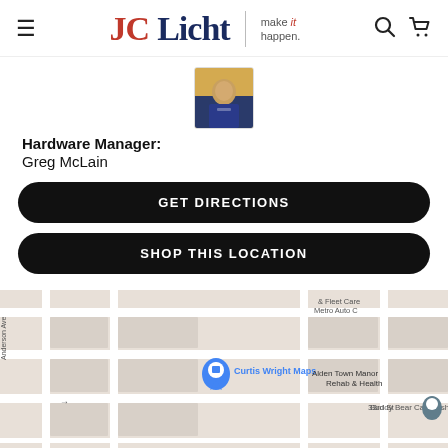JCLicht | make it happen.
[Figure (photo): Headshot photo of Greg McLain, Hardware Manager, wearing a blue shirt, taken indoors.]
Hardware Manager: Greg McLain
GET DIRECTIONS
SHOP THIS LOCATION
[Figure (map): Google Maps screenshot showing Curtis Wright Maps location, with nearby landmarks: Alden Town Manor Rehab & Health, Buddy Bear Car Wash, & Fleet Care Metro Auto, streets including 33rd St, Anderson Ave.]